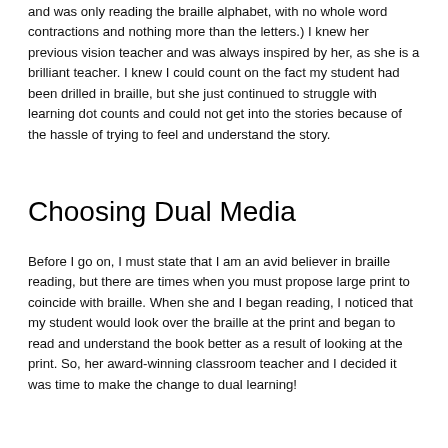and was only reading the braille alphabet, with no whole word contractions and nothing more than the letters.)  I knew her previous vision teacher and was always inspired by her, as she is a brilliant teacher. I knew I could count on the fact my student had been drilled in braille, but she just continued to struggle with learning dot counts and could not get into the stories because of the hassle of trying to feel and understand the story.
Choosing Dual Media
Before I go on, I must state that I am an avid believer in braille reading, but there are times when you must propose large print to coincide with braille.  When she and I began reading, I noticed that my student would look over the braille at the print and began to read and understand the book better as a result of looking at the print. So, her award-winning classroom teacher and I decided it was time to make the change to dual learning!